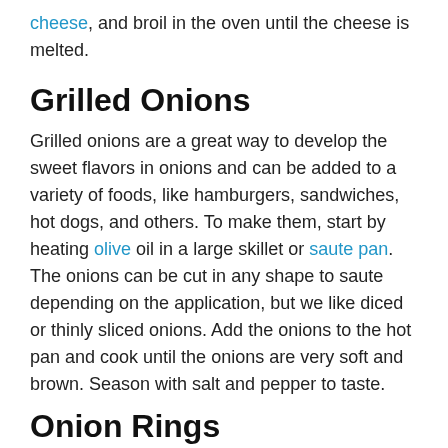cheese, and broil in the oven until the cheese is melted.
Grilled Onions
Grilled onions are a great way to develop the sweet flavors in onions and can be added to a variety of foods, like hamburgers, sandwiches, hot dogs, and others. To make them, start by heating olive oil in a large skillet or saute pan. The onions can be cut in any shape to saute depending on the application, but we like diced or thinly sliced onions. Add the onions to the hot pan and cook until the onions are very soft and brown. Season with salt and pepper to taste.
Onion Rings
Onion rings are a classic dinner food, and a great way to enjoy onions. To make them, cut a sweet onion into 3/4